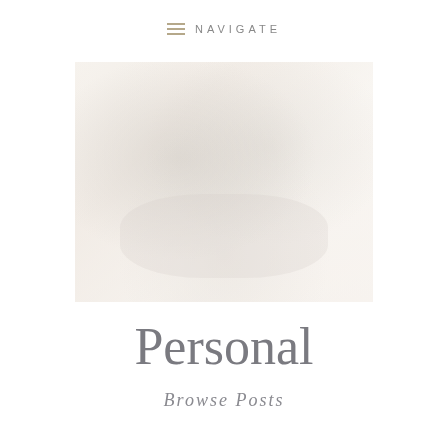≡ NAVIGATE
[Figure (photo): Faded/washed-out photograph of two people sitting at a table in a bright room, facing each other, very light and airy tones]
Personal
Browse Posts